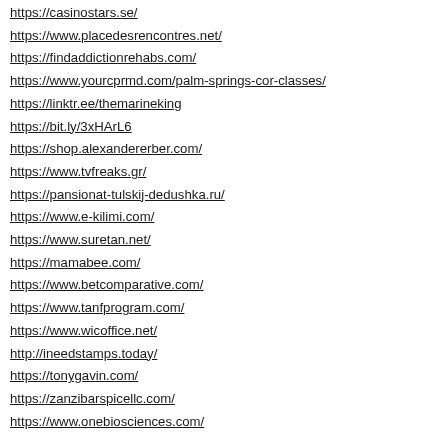https://casinostars.se/
https://www.placedesrencontres.net/
https://findaddictionrehabs.com/
https://www.yourcprmd.com/palm-springs-cor-classes/
https://linktr.ee/themarineking
https://bit.ly/3xHArL6
https://shop.alexandererber.com/
https://www.tvfreaks.gr/
https://pansionat-tulskij-dedushka.ru/
https://www.e-kilimi.com/
https://www.suretan.net/
https://mamabee.com/
https://www.betcomparative.com/
https://www.tanfprogram.com/
https://www.wicoffice.net/
http://ineedstamps.today/
https://tonygavin.com/
https://zanzibarspicellc.com/
https://www.onebiosciences.com/